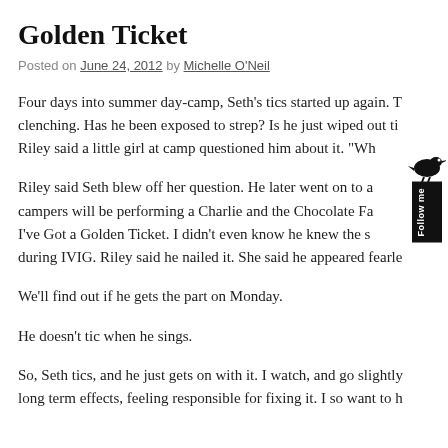Golden Ticket
Posted on June 24, 2012 by Michelle O'Neil
Four days into summer day-camp, Seth’s tics started up again. T… clenching. Has he been exposed to strep? Is he just wiped out ti… Riley said a little girl at camp questioned him about it. “Wh…
Riley said Seth blew off her question. He later went on to a… campers will be performing a Charlie and the Chocolate Fa… I’ve Got a Golden Ticket. I didn’t even know he knew the s… during IVIG. Riley said he nailed it. She said he appeared fearle…
We’ll find out if he gets the part on Monday.
He doesn’t tic when he sings.
So, Seth tics, and he just gets on with it. I watch, and go slightly… long term effects, feeling responsible for fixing it. I so want to h…